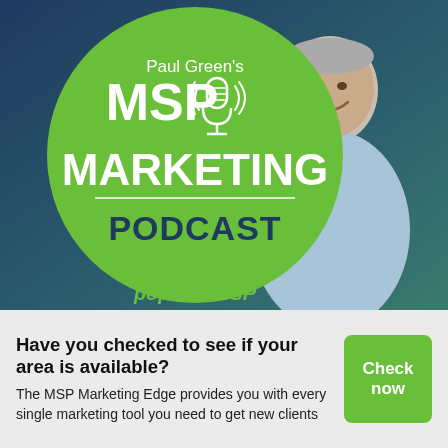[Figure (illustration): Paul Green's MSP Marketing Podcast promotional image. A smiling middle-aged man in a light blue shirt stands to the right. On the left is a large green circle with white text reading 'Paul Green's MSP MARKETING PODCAST' with a microphone icon, and below it italic green text reading 'The world's most popular MSP']
Have you checked to see if your area is available?
The MSP Marketing Edge provides you with every single marketing tool you need to get new clients
Check now